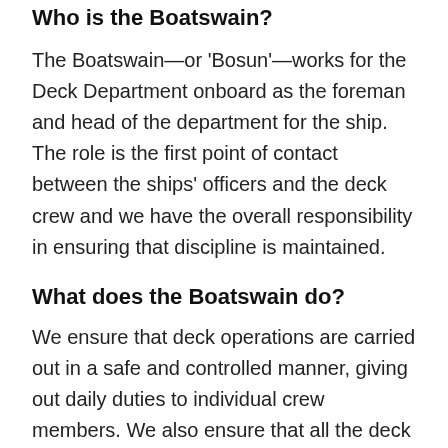Who is the Boatswain?
The Boatswain—or 'Bosun'—works for the Deck Department onboard as the foreman and head of the department for the ship. The role is the first point of contact between the ships' officers and the deck crew and we have the overall responsibility in ensuring that discipline is maintained.
What does the Boatswain do?
We ensure that deck operations are carried out in a safe and controlled manner, giving out daily duties to individual crew members. We also ensure that all the deck equipment and deck stores are up to date and available for the large